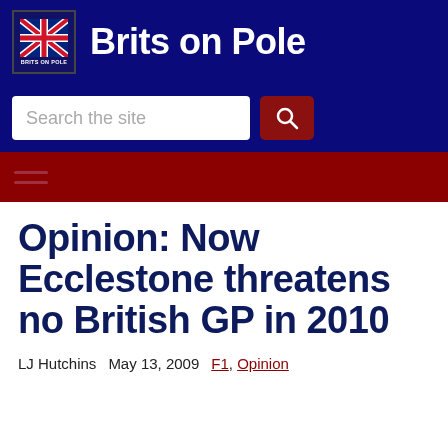Brits on Pole
Opinion: Now Ecclestone threatens no British GP in 2010
LJ Hutchins   May 13, 2009   F1, Opinion